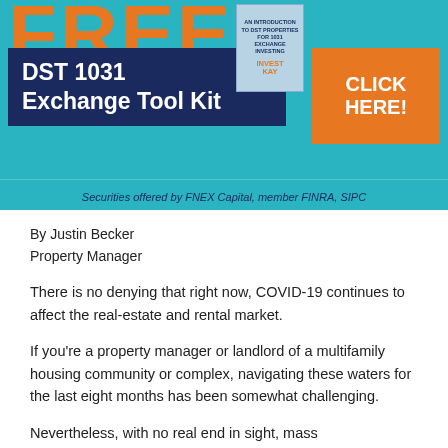[Figure (infographic): Advertisement banner for DST 1031 Exchange Tool Kit. Features 'FREE' in large orange text, a dark navy box with 'DST 1031 Exchange Tool Kit', an orange 'CLICK HERE!' button, a book thumbnail, and the text 'Securities offered by FNEX Capital, member FINRA, SIPC' on a teal background.]
By Justin Becker
Property Manager
There is no denying that right now, COVID-19 continues to affect the real-estate and rental market.
If you're a property manager or landlord of a multifamily housing community or complex, navigating these waters for the last eight months has been somewhat challenging.
Nevertheless, with no real end in sight, mass unemployment, fluctuation in available job opportunities, and the ongoing